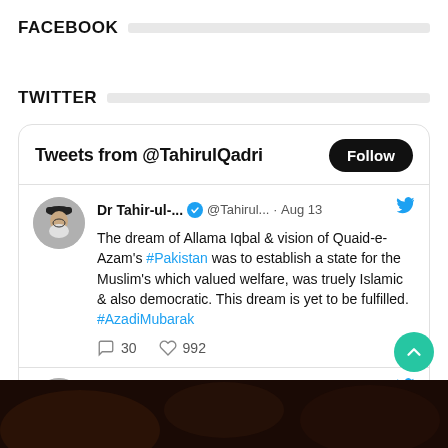FACEBOOK
TWITTER
[Figure (screenshot): Twitter widget showing tweets from @TahirulQadri with a Follow button, a tweet dated Aug 13 about the dream of Allama Iqbal and vision of Quaid-e-Azam's #Pakistan and establishing a Muslim state, with 30 comments and 992 likes, and a second tweet header dated Aug 11. A bottom photo strip and a teal back-to-top button are also visible.]